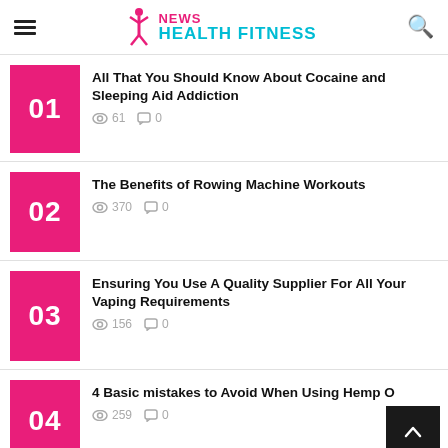NEWS HEALTH FITNESS
All That You Should Know About Cocaine and Sleeping Aid Addiction · 61 views · 0 comments
The Benefits of Rowing Machine Workouts · 370 views · 0 comments
Ensuring You Use A Quality Supplier For All Your Vaping Requirements · 156 views · 0 comments
4 Basic mistakes to Avoid When Using Hemp · 259 views · 0 comments